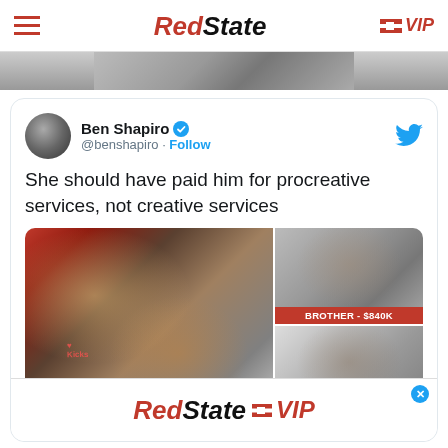RedState  VIP
[Figure (photo): Top partial image strip, grayscale/muted tones]
[Figure (screenshot): Embedded tweet by Ben Shapiro (@benshapiro) with verified badge and Follow link. Tweet text: 'She should have paid him for procreative services, not creative services'. Includes embedded newspaper image showing two people and inset photos with label 'BROTHER - $840K'. Below tweet image partial text 'dailymail.co.uk'. Overlaid RedState VIP advertisement banner.]